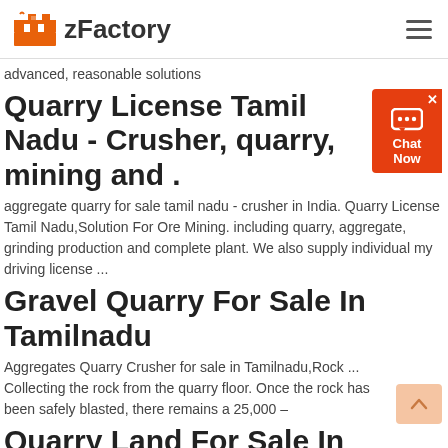zFactory
advanced, reasonable solutions
Quarry License Tamil Nadu - Crusher, quarry, mining and .
aggregate quarry for sale tamil nadu - crusher in India. Quarry License Tamil Nadu,Solution For Ore Mining. including quarry, aggregate, grinding production and complete plant. We also supply individual my driving license ...
Gravel Quarry For Sale In Tamilnadu
Aggregates Quarry Crusher for sale in Tamilnadu,Rock ... Collecting the rock from the quarry floor. Once the rock has been safely blasted, there remains a 25,000 –
Quarry Land For Sale In